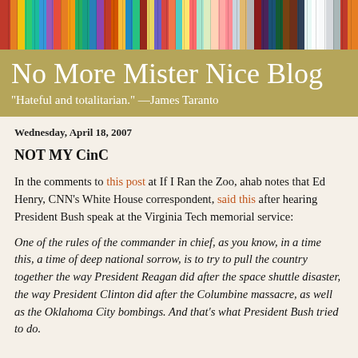[Figure (photo): Colorful books on a shelf, used as a decorative banner image at the top of the blog.]
No More Mister Nice Blog
"Hateful and totalitarian." —James Taranto
Wednesday, April 18, 2007
NOT MY CinC
In the comments to this post at If I Ran the Zoo, ahab notes that Ed Henry, CNN's White House correspondent, said this after hearing President Bush speak at the Virginia Tech memorial service:
One of the rules of the commander in chief, as you know, in a time this, a time of deep national sorrow, is to try to pull the country together the way President Reagan did after the space shuttle disaster, the way President Clinton did after the Columbine massacre, as well as the Oklahoma City bombings. And that's what President Bush tried to do.